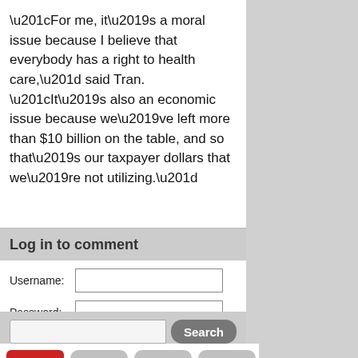“For me, it’s a moral issue because I believe that everybody has a right to health care,” said Tran. “It’s also an economic issue because we’ve left more than $10 billion on the table, and so that’s our taxpayer dollars that we’re not utilizing.”
Log in to comment
[Figure (screenshot): Login form with Username and Password fields, a Log in button, and a Forgotten your password? link]
[Figure (screenshot): Search bar with a Search button]
[Figure (screenshot): Navigation icons: News (red), clock (gray), star (gray), video camera (gray)]